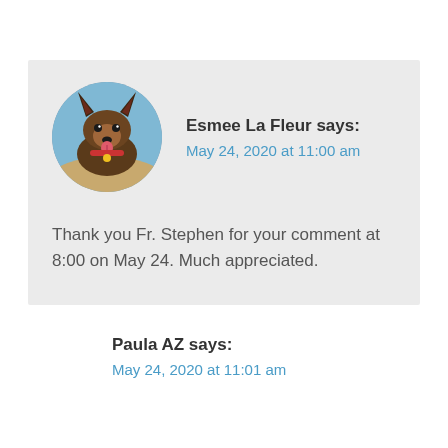[Figure (photo): Circular avatar photo of a German Shepherd dog with its tongue out, set against an outdoor background.]
Esmee La Fleur says:
May 24, 2020 at 11:00 am
Thank you Fr. Stephen for your comment at 8:00 on May 24. Much appreciated.
Paula AZ says:
May 24, 2020 at 11:01 am